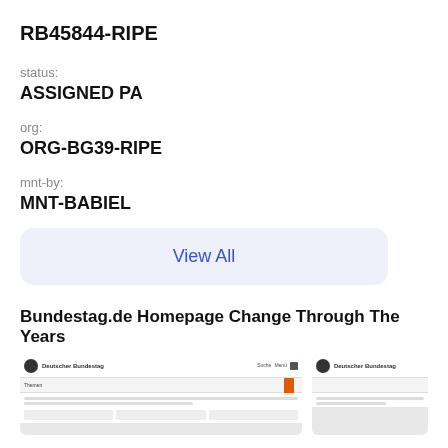RB45844-RIPE
status:
ASSIGNED PA
org:
ORG-BG39-RIPE
mnt-by:
MNT-BABIEL
View All
Bundestag.de Homepage Change Through The Years
[Figure (screenshot): Two screenshots of Bundestag.de website showing its homepage design]